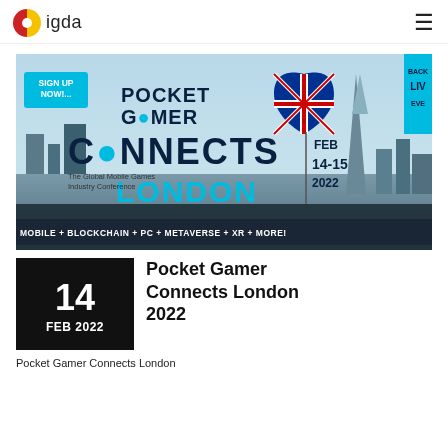[Figure (logo): IGDA logo with red and yellow circular icon and 'igda' text]
[Figure (photo): Pocket Gamer Connects London 2022 promotional banner. Shows 'SIGN UP NOW!' in blue box, Pocket Gamer Connects logo, UK flag heart, FEB 14-15 2022, London skyline, 'The Global Mobile Games Industry Conference', 'MOBILE + BLOCKCHAIN + PC + METAVERSE + XR + MORE!' tagline at bottom, cyan 'BACK LIVE EVENT' strip on right]
[Figure (other): Black date block showing '14' large and 'FEB 2022' below]
Pocket Gamer Connects London 2022
Pocket Gamer Connects London